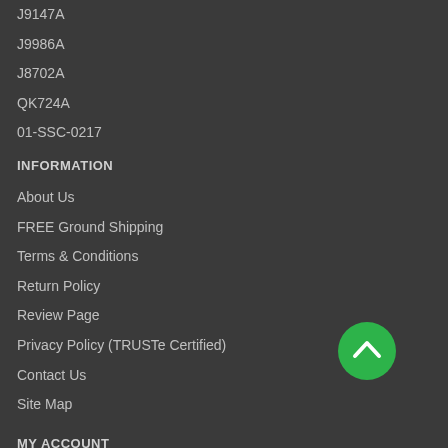J9147A
J9986A
J8702A
QK724A
01-SSC-0217
INFORMATION
About Us
FREE Ground Shipping
Terms & Conditions
Return Policy
Review Page
Privacy Policy (TRUSTe Certified)
Contact Us
Site Map
MY ACCOUNT
[Figure (illustration): Green circular button with white upward chevron arrow]